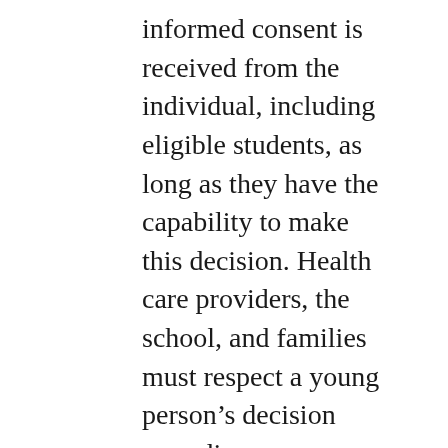informed consent is received from the individual, including eligible students, as long as they have the capability to make this decision. Health care providers, the school, and families must respect a young person's decision regarding vaccination. Parents and guardians are encouraged to discuss vaccination with their children prior to attending a school vaccination clinic. In addition, the province has extended eligibility to the Pfizer vaccine to